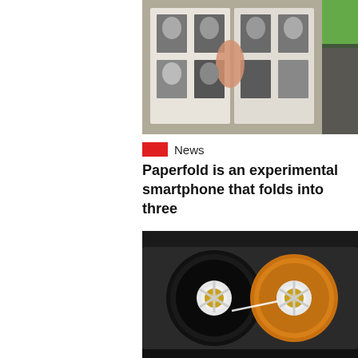[Figure (photo): A person holding open a photo album showing black and white portrait photographs]
News
Paperfold is an experimental smartphone that folds into three
[Figure (photo): Close-up of a cassette tape showing two reels, one black and one orange/gold colored]
News
Sony stores 185 TB of data on a cassette tape
Recent Posts
How to record your desktop screen, edit and